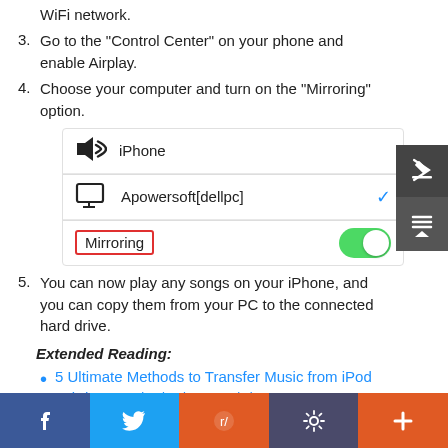WiFi network.
3. Go to the "Control Center" on your phone and enable Airplay.
4. Choose your computer and turn on the "Mirroring" option.
[Figure (screenshot): iOS AirPlay screen showing iPhone with speaker icon, Apowersoft[dellpc] with monitor icon and blue checkmark, and Mirroring toggle switch turned on (green)]
5. You can now play any songs on your iPhone, and you can copy them from your PC to the connected hard drive.
Extended Reading:
5 Ultimate Methods to Transfer Music from iPod to iPhone 13/12/11/Xs Max/8/7